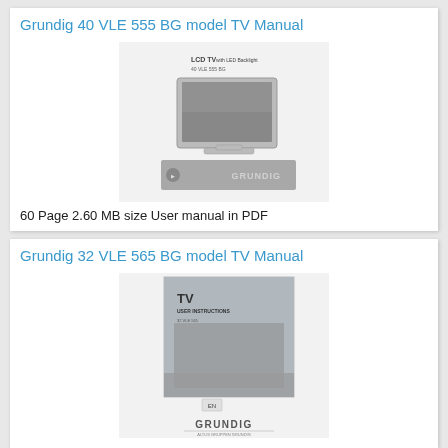Grundig 40 VLE 555 BG model TV Manual
[Figure (illustration): Cover image of Grundig 40 VLE 555 BG TV manual showing an LCD TV with LED Backlight and the Grundig logo on a grey banner]
60 Page 2.60 MB size User manual in PDF
Grundig 32 VLE 565 BG model TV Manual
[Figure (illustration): Cover image of Grundig 32 VLE 565 BG TV manual showing a TV with USER INSTRUCTIONS text and Grundig logo at the bottom]